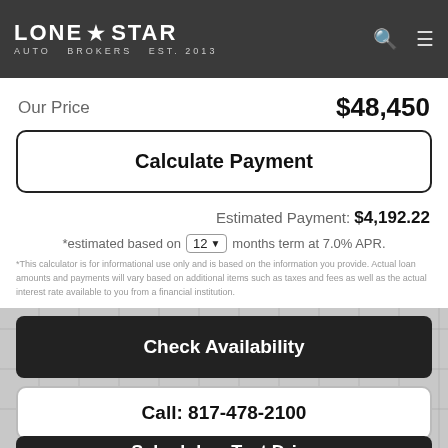LONE STAR AUTO BROKERS EST. 2013
Our Price  $48,450
Calculate Payment
Estimated Payment: $4,192.22
*estimated based on 12 months term at 7.0% APR.
*This calculator is for informational use only and is based on the information you provide. Actual loan amounts and payments will vary based on additional items such as taxes and fees as well as the actual interest rate available to you from a financial institution.
Check Availability
Call: 817-478-2100
Schedule a Test Drive